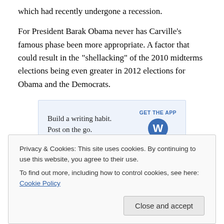which had recently undergone a recession.
For President Barak Obama never has Carville's famous phase been more appropriate. A factor that could result in the “shellacking” of the 2010 midterms elections being even greater in 2012 elections for Obama and the Democrats.
[Figure (other): Advertisement banner: 'Build a writing habit. Post on the go.' with a 'GET THE APP' button and WordPress logo.]
And while President Obama promised immediately after
Privacy & Cookies: This site uses cookies. By continuing to use this website, you agree to their use.
To find out more, including how to control cookies, see here: Cookie Policy